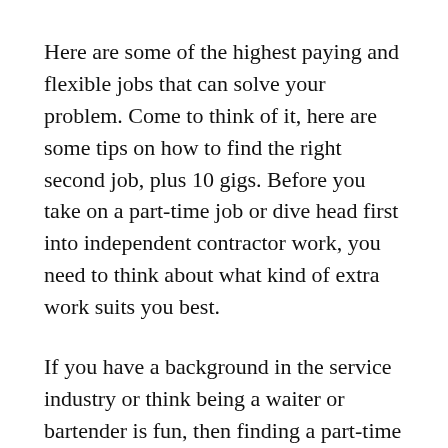Here are some of the highest paying and flexible jobs that can solve your problem. Come to think of it, here are some tips on how to find the right second job, plus 10 gigs. Before you take on a part-time job or dive head first into independent contractor work, you need to think about what kind of extra work suits you best.
If you have a background in the service industry or think being a waiter or bartender is fun, then finding a part-time job in the evenings or weekends at a local restaurant might be a good choice. The service industry depends on people who are looking for